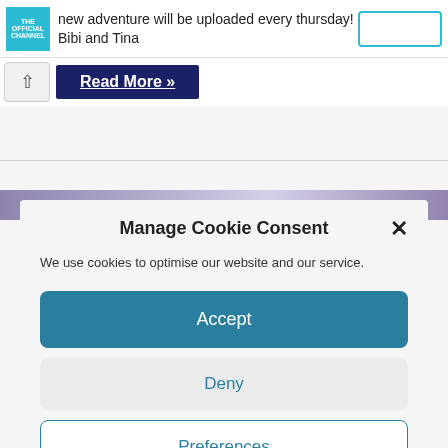new adventure will be uploaded every thursday! Bibi and Tina
Read More »
[Figure (screenshot): Purple/lavender gradient banner image]
Manage Cookie Consent
We use cookies to optimise our website and our service.
Accept
Deny
Preferences